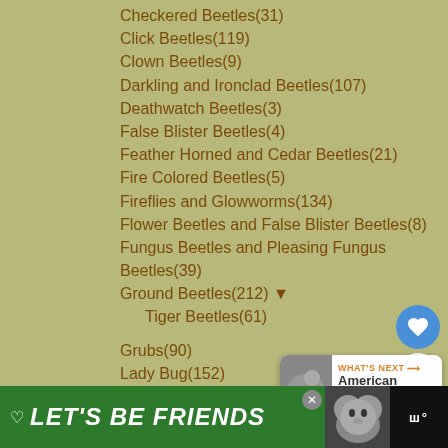Checkered Beetles(31)
Click Beetles(119)
Clown Beetles(9)
Darkling and Ironclad Beetles(107)
Deathwatch Beetles(3)
False Blister Beetles(4)
Feather Horned and Cedar Beetles(21)
Fire Colored Beetles(5)
Fireflies and Glowworms(134)
Flower Beetles and False Blister Beetles(8)
Fungus Beetles and Pleasing Fungus Beetles(39)
Ground Beetles(212) ▼
Tiger Beetles(61)
Grubs(90)
Lady Bug(152)
Leaf Beetles(294) ▼
Flea Beetles(19)
Tortoise Beetles(62)
[Figure (screenshot): UI buttons: heart/like button (blue circle), count of 1, share button (blue circle); What's Next panel: American Pelecinid]
[Figure (screenshot): Ad banner: LET'S BE FRIENDS with husky dog image and close button]